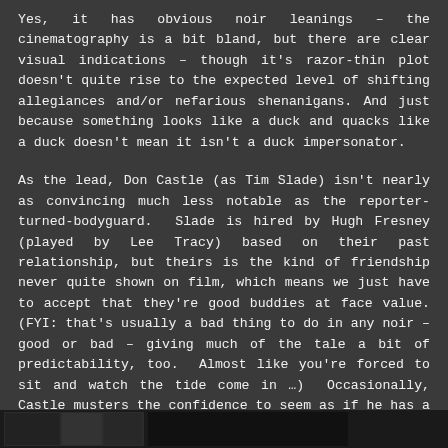Yes, it has obvious noir leanings – the cinematography is a bit bland, but there are clear visual indications – though it's razor-thin plot doesn't quite rise to the expected level of shifting allegiances and/or nefarious shenanigans. And just because something looks like a duck and quacks like a duck doesn't mean it isn't a duck impersonator.
As the lead, Don Castle (as Tim Slade) isn't nearly as convincing much less notable as the reporter-turned-bodyguard. Slade is hired by Hugh Fresney (played by Lee Tracy) based on their past relationship, but theirs is the kind of friendship never quite shown on film, which means we just have to accept that they're good buddies at face value. (FYI: that's usually a bad thing to do in any noir – good or bad – giving much of the tale a bit of predictability, too. Almost like you're forced to sit and watch the tide come in …) Occasionally, Castle musters the confidence to seem as if he has a solid grasp of unfolding events here – a trait needed of any leading player – but yet the overall plotline from Robert Presnell Jr. and Peter Milne (as adapted from a story by Raoul Whitfield) just never quite makes sense.
[Figure (photo): A dark film still or image strip at the bottom of the page, partially visible]